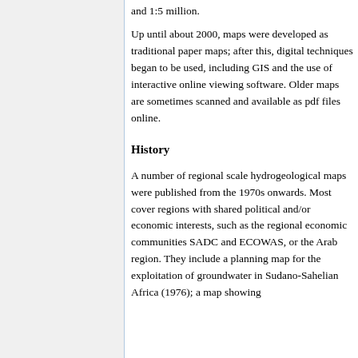and 1:5 million.
Up until about 2000, maps were developed as traditional paper maps; after this, digital techniques began to be used, including GIS and the use of interactive online viewing software. Older maps are sometimes scanned and available as pdf files online.
History
A number of regional scale hydrogeological maps were published from the 1970s onwards. Most cover regions with shared political and/or economic interests, such as the regional economic communities SADC and ECOWAS, or the Arab region. They include a planning map for the exploitation of groundwater in Sudano-Sahelian Africa (1976); a map showing